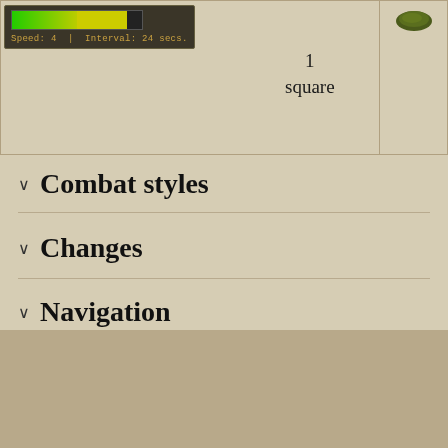[Figure (screenshot): Game UI widget showing a speed/interval progress bar with Speed: 4 and Interval: 24 secs., alongside text '1 square' and a small green game item icon]
Combat styles
Changes
Navigation
Last edited 4 months ago by Spineweilder
Content on this site is licensed under CC BY-NC-SA 3.0;